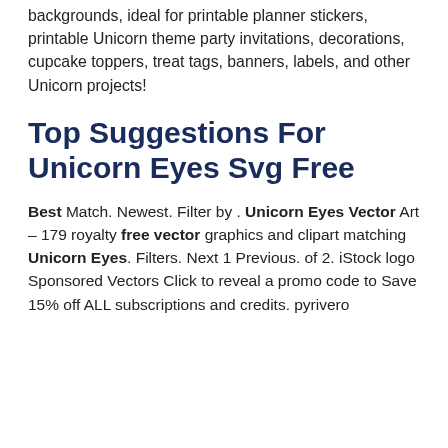backgrounds, ideal for printable planner stickers, printable Unicorn theme party invitations, decorations, cupcake toppers, treat tags, banners, labels, and other Unicorn projects!
Top Suggestions For Unicorn Eyes Svg Free
Best Match. Newest. Filter by . Unicorn Eyes Vector Art – 179 royalty free vector graphics and clipart matching Unicorn Eyes. Filters. Next 1 Previous. of 2. iStock logo Sponsored Vectors Click to reveal a promo code to Save 15% off ALL subscriptions and credits. pyrivero